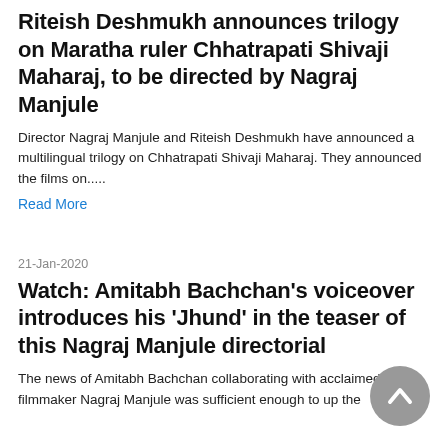Riteish Deshmukh announces trilogy on Maratha ruler Chhatrapati Shivaji Maharaj, to be directed by Nagraj Manjule
Director Nagraj Manjule and Riteish Deshmukh have announced a multilingual trilogy on Chhatrapati Shivaji Maharaj. They announced the films on.....
Read More
21-Jan-2020
Watch: Amitabh Bachchan's voiceover introduces his 'Jhund' in the teaser of this Nagraj Manjule directorial
The news of Amitabh Bachchan collaborating with acclaimed filmmaker Nagraj Manjule was sufficient enough to up the